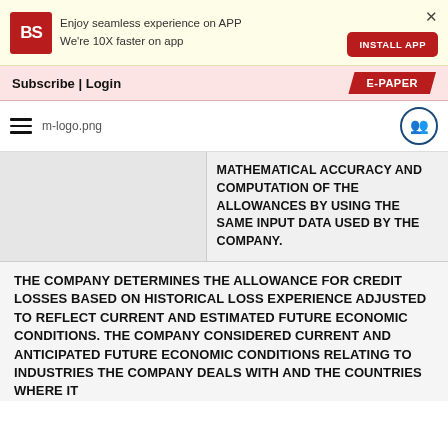Enjoy seamless experience on APP
We're 10X faster on app
Subscribe | Login  E-PAPER
[Figure (logo): m-logo.png site logo with hamburger menu and share icon]
MATHEMATICAL ACCURACY AND COMPUTATION OF THE ALLOWANCES BY USING THE SAME INPUT DATA USED BY THE COMPANY.
THE COMPANY DETERMINES THE ALLOWANCE FOR CREDIT LOSSES BASED ON HISTORICAL LOSS EXPERIENCE ADJUSTED TO REFLECT CURRENT AND ESTIMATED FUTURE ECONOMIC CONDITIONS. THE COMPANY CONSIDERED CURRENT AND ANTICIPATED FUTURE ECONOMIC CONDITIONS RELATING TO INDUSTRIES THE COMPANY DEALS WITH AND THE COUNTRIES WHERE IT